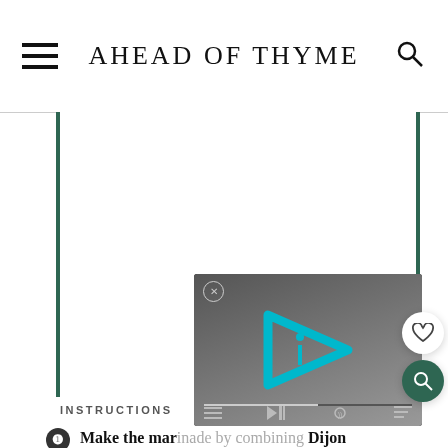AHEAD OF THYME
[Figure (other): White content area with dark green vertical border lines on left and right sides]
INSTRUCTIONS
Make the marinade by combining Dijon mustard, olive oil, soy sauce, garlic, cumin powder, cayenne pepper, Italian spice blend, lemon juice, and
[Figure (screenshot): Video player overlay with teal/cyan play button logo, close X button, and progress bar controls on dark background]